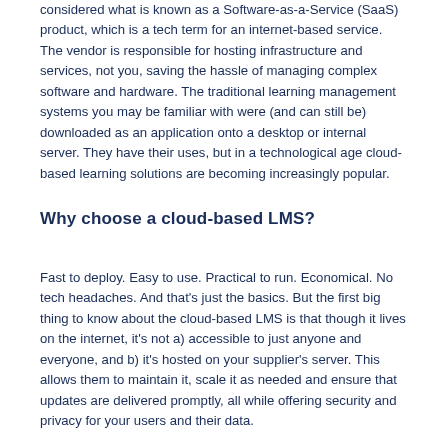considered what is known as a Software-as-a-Service (SaaS) product, which is a tech term for an internet-based service. The vendor is responsible for hosting infrastructure and services, not you, saving the hassle of managing complex software and hardware. The traditional learning management systems you may be familiar with were (and can still be) downloaded as an application onto a desktop or internal server. They have their uses, but in a technological age cloud-based learning solutions are becoming increasingly popular.
Why choose a cloud-based LMS?
Fast to deploy. Easy to use. Practical to run. Economical. No tech headaches. And that's just the basics. But the first big thing to know about the cloud-based LMS is that though it lives on the internet, it's not a) accessible to just anyone and everyone, and b) it's hosted on your supplier's server. This allows them to maintain it, scale it as needed and ensure that updates are delivered promptly, all while offering security and privacy for your users and their data.